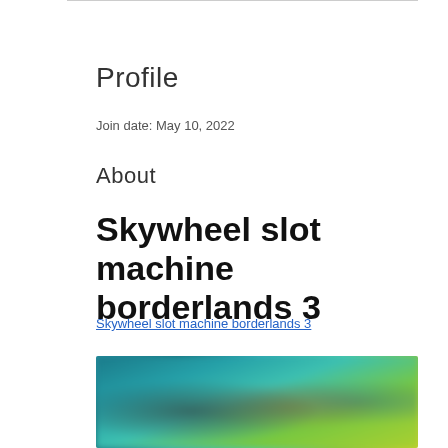Profile
Join date: May 10, 2022
About
Skywheel slot machine borderlands 3
Skywheel slot machine borderlands 3
[Figure (photo): Blurred screenshot showing characters from a video game (Borderlands 3), with teal, green, and yellow color tones]